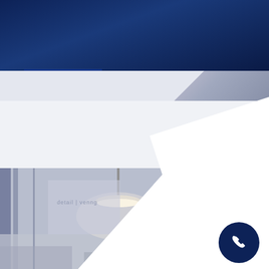[Figure (screenshot): Website screenshot showing the header of 'Enhance Branding Detailing Wrapping' company website with dark navy blue background, logo, hamburger menu icon, 'CALL US' text with phone icon, and 'ENQUIRIES →' button in pill-shaped border. Below is a light grey body area with a diagonal white panel. At the bottom, a partially visible interior photo (car detailing or showroom) with a diagonal white overlay and a dark navy phone call floating button in the bottom right corner.]